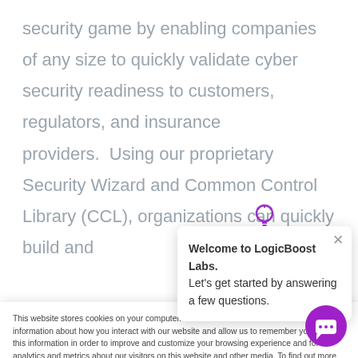security game by enabling companies of any size to quickly validate cyber security readiness to customers, regulators, and insurance providers.  Using our proprietary Security Wizard and Common Control Library (CCL), organizations can quickly build and
This website stores cookies on your computer. These cookies are used to collect information about how you interact with our website and allow us to remember you. We use this information in order to improve and customize your browsing experience and for analytics and metrics about our visitors on this website and other media. To find out more about the cookies we use, see our Privacy Policy.
If you decline, your information won't be tracked when you visit this website. A single cookie will be used in your browser to remember your preference not to be tracked.
Welcome to LogicBoost Labs. Let's get started by answering a few questions.
Cookies settings    Accept    Decline